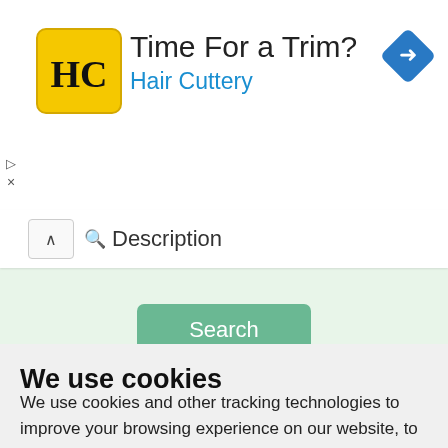[Figure (screenshot): Hair Cuttery advertisement banner with yellow logo, 'Time For a Trim?' heading, 'Hair Cuttery' subtitle in blue, and a blue navigation diamond icon on the right]
Description
[Figure (screenshot): Search button on light green background]
[Figure (illustration): Partial green circular icon with pencil/edit symbol visible at bottom of search section]
We use cookies
We use cookies and other tracking technologies to improve your browsing experience on our website, to show you personalized content and targeted ads, to analyze our website traffic, and to understand where our visitors are coming from.